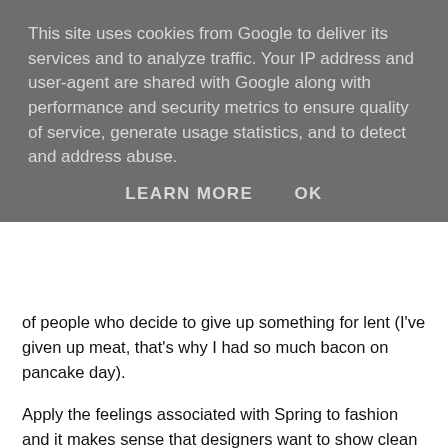This site uses cookies from Google to deliver its services and to analyze traffic. Your IP address and user-agent are shared with Google along with performance and security metrics to ensure quality of service, generate usage statistics, and to detect and address abuse.
LEARN MORE   OK
of people who decide to give up something for lent (I've given up meat, that's why I had so much bacon on pancake day).
Apply the feelings associated with Spring to fashion and it makes sense that designers want to show clean whites, bright colours and fresh blooms. That's not to say that all florals are good, some of them are completely awful! It can often depend on the size of the print, the colour scheme and the fabric, all of which vary from season to season. Even if you have an acceptable piece, how do you avoid look boring or even granny-like? Well, my answer to that, as ever, is a list! Follow these tips if you want to go manic for botanics, but would like to avoid a floral faux-pas.